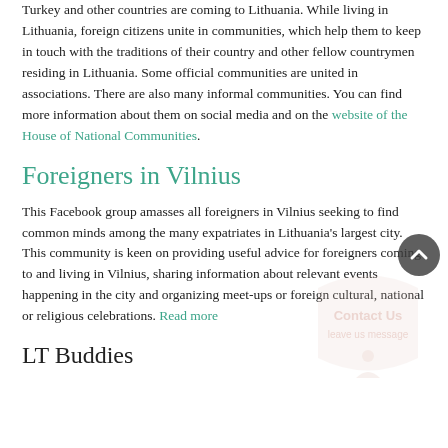Turkey and other countries are coming to Lithuania. While living in Lithuania, foreign citizens unite in communities, which help them to keep in touch with the traditions of their country and other fellow countrymen residing in Lithuania. Some official communities are united in associations. There are also many informal communities. You can find more information about them on social media and on the website of the House of National Communities.
Foreigners in Vilnius
This Facebook group amasses all foreigners in Vilnius seeking to find common minds among the many expatriates in Lithuania's largest city. This community is keen on providing useful advice for foreigners coming to and living in Vilnius, sharing information about relevant events happening in the city and organizing meet-ups or foreign cultural, national or religious celebrations. Read more
LT Buddies